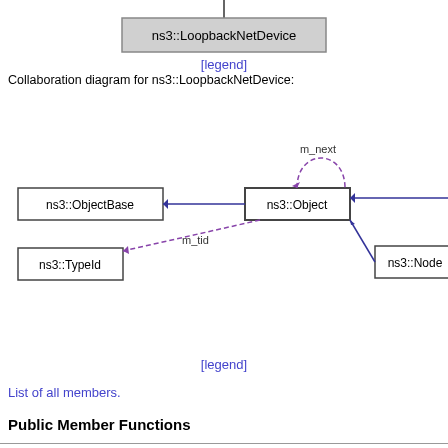[Figure (organizational-chart): Class box for ns3::LoopbackNetDevice with line going up (inheritance arrow)]
[legend]
Collaboration diagram for ns3::LoopbackNetDevice:
[Figure (engineering-diagram): Collaboration diagram showing ns3::Object connected to ns3::ObjectBase (solid arrow left), ns3::TypeId (dashed purple arrow labeled m_tid), ns3::Node (solid arrow right, partially cut off), and a self-referential dashed purple arrow labeled m_next]
[legend]
List of all members.
Public Member Functions